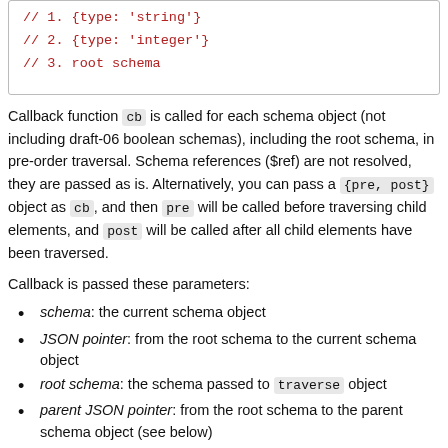// 1. {type: 'string'}
// 2. {type: 'integer'}
// 3. root schema
Callback function cb is called for each schema object (not including draft-06 boolean schemas), including the root schema, in pre-order traversal. Schema references ($ref) are not resolved, they are passed as is. Alternatively, you can pass a {pre, post} object as cb, and then pre will be called before traversing child elements, and post will be called after all child elements have been traversed.
Callback is passed these parameters:
schema: the current schema object
JSON pointer: from the root schema to the current schema object
root schema: the schema passed to traverse object
parent JSON pointer: from the root schema to the parent schema object (see below)
parent keyword: the keyword inside which this schema